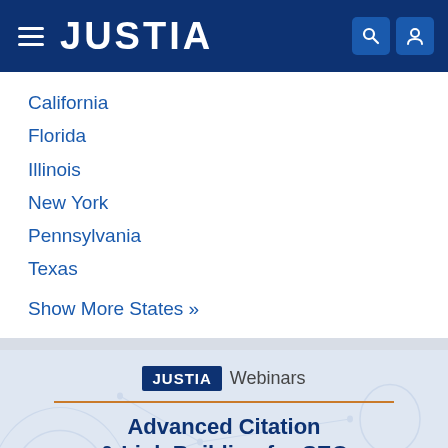JUSTIA
California
Florida
Illinois
New York
Pennsylvania
Texas
Show More States »
[Figure (infographic): Justia Webinars promotional banner for 'Advanced Citation & Link Building for SEO' live webinar with Tim Stanley, CEO of Justia. Features JUSTIA logo badge, orange dividing line, webinar title, and a circular photo of Tim Stanley wearing a Justia cap.]